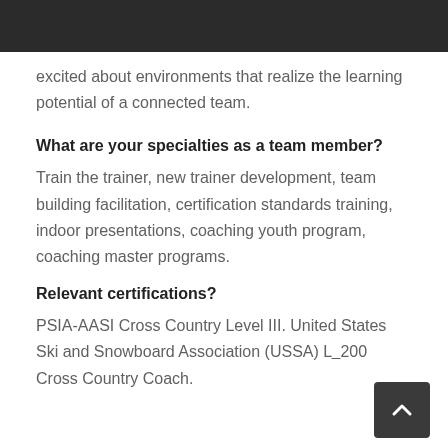excited about environments that realize the learning potential of a connected team.
What are your specialties as a team member?
Train the trainer, new trainer development, team building facilitation, certification standards training, indoor presentations, coaching youth program, coaching master programs.
Relevant certifications?
PSIA-AASI Cross Country Level III. United States Ski and Snowboard Association (USSA) L... 200 Cross Country Coach.